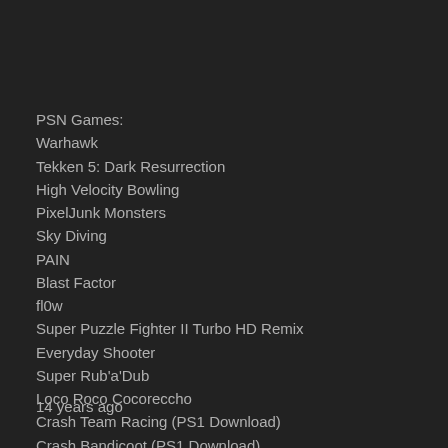PSN Games:
Warhawk
Tekken 5: Dark Resurrection
High Velocity Bowling
PixelJunk Monsters
Sky Diving
PAIN
Blast Factor
fl0w
Super Puzzle Fighter II Turbo HD Remix
Everyday Shooter
Super Rub'a'Dub
Loco Roco Cocoreccho
Crash Team Racing (PS1 Download)
Crash Bandicoot (PS1 Download)
Theme Hospital (PS1 Download)
Castlevania: Symphony Of The Night (PS1 Download)
MediEvil (PS1 Download)
14 years ago